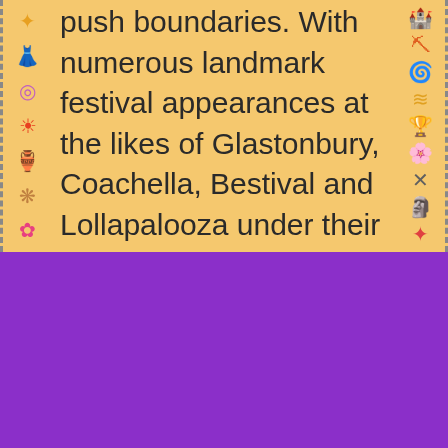push boundaries. With numerous landmark festival appearances at the likes of Glastonbury, Coachella, Bestival and Lollapalooza under their belts, the band continue to take their
To provide you with the best possible experience we use cookies on this website.  LEARN MORE HERE
OKAY, THANKS